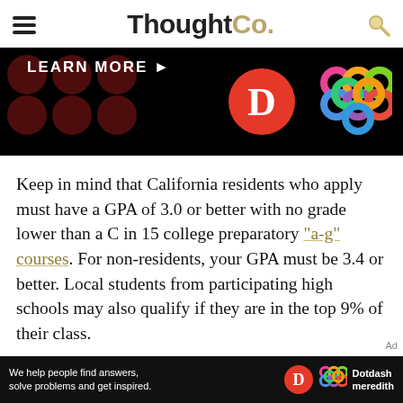ThoughtCo.
[Figure (screenshot): Advertisement banner with black background, 'LEARN MORE' text, red Dotdash D logo circle, and colorful interlocked rings logo]
Keep in mind that California residents who apply must have a GPA of 3.0 or better with no grade lower than a C in 15 college preparatory "a-g" courses. For non-residents, your GPA must be 3.4 or better. Local students from participating high schools may also qualify if they are in the top 9% of their class.
In the graph above, the blue and green dots represent accepted
[Figure (screenshot): Bottom advertisement banner: 'We help people find answers, solve problems and get inspired.' with Dotdash Meredith logo]